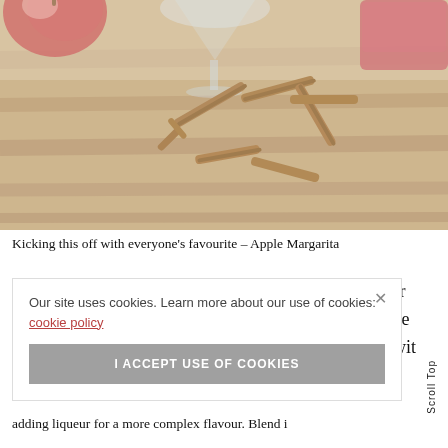[Figure (photo): Photo of apples, cinnamon sticks, a cocktail glass and a red drink on a wooden table surface, with warm tones.]
Kicking this off with everyone's favourite – Apple Margarita
Our site uses cookies. Learn more about our use of cookies: cookie policy
I ACCEPT USE OF COOKIES
ple liqueur
you choose
taste: go wi
a more
Scroll Top
adding liqueur for a more complex flavour. Blending